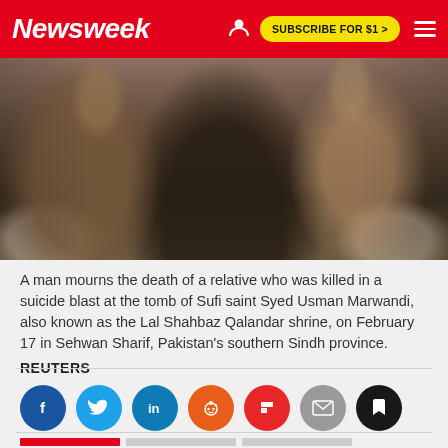Newsweek | SUBSCRIBE FOR $1 >
[Figure (photo): A man mourning with hands raised in a praying gesture, surrounded by a crowd, at the Lal Shahbaz Qalandar shrine in Sehwan Sharif, Pakistan]
A man mourns the death of a relative who was killed in a suicide blast at the tomb of Sufi saint Syed Usman Marwandi, also known as the Lal Shahbaz Qalandar shrine, on February 17 in Sehwan Sharif, Pakistan's southern Sindh province.
REUTERS